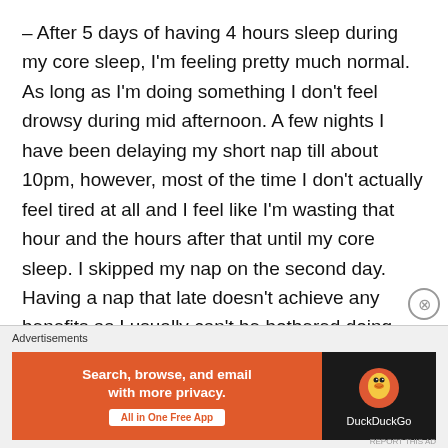– After 5 days of having 4 hours sleep during my core sleep, I'm feeling pretty much normal. As long as I'm doing something I don't feel drowsy during mid afternoon. A few nights I have been delaying my short nap till about 10pm, however, most of the time I don't actually feel tired at all and I feel like I'm wasting that hour and the hours after that until my core sleep. I skipped my nap on the second day. Having a nap that late doesn't achieve any benefits as I usually can't be bothered doing anything after the nap anyway whereas if I didn't take the nap I would be more
Advertisements
[Figure (other): DuckDuckGo advertisement banner: 'Search, browse, and email with more privacy. All in One Free App' with DuckDuckGo logo on dark background]